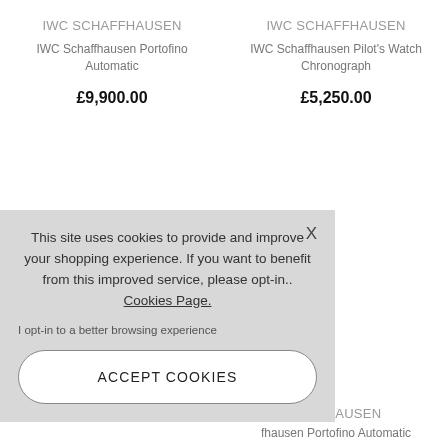IWC SCHAFFHAUSEN
IWC Schaffhausen Portofino Automatic
£9,900.00
IWC SCHAFFHAUSEN
IWC Schaffhausen Pilot's Watch Chronograph
£5,250.00
This site uses cookies to provide and improve your shopping experience. If you want to benefit from this improved service, please opt-in.. Cookies Page.
I opt-in to a better browsing experience
ACCEPT COOKIES
Chronograph Edition 'Le Petit
HAFFHAUSEN
fhausen Portofino Automatic